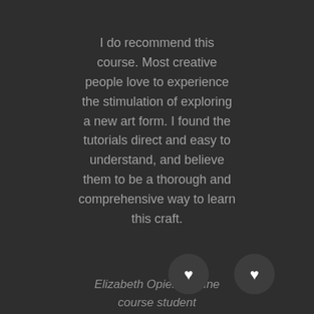I do recommend this course. Most creative people love to experience the stimulation of exploring a new art form. I found the tutorials direct and easy to understand, and believe them to be a thorough and comprehensive way to learn this craft.
Elizabeth Opiela, online course student
[Figure (illustration): Two circular dark buttons each with a white heart icon, positioned at the bottom of the page]